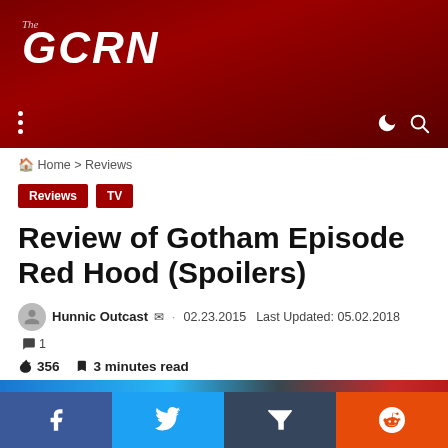The GCRN
Home > Reviews
Reviews  TV
Review of Gotham Episode Red Hood (Spoilers)
Hunnic Outcast  · 02.23.2015  Last Updated: 05.02.2018  1
356  3 minutes read